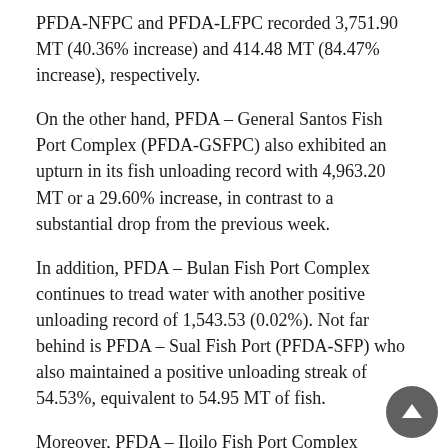PFDA-NFPC and PFDA-LFPC recorded 3,751.90 MT (40.36% increase) and 414.48 MT (84.47% increase), respectively.
On the other hand, PFDA – General Santos Fish Port Complex (PFDA-GSFPC) also exhibited an upturn in its fish unloading record with 4,963.20 MT or a 29.60% increase, in contrast to a substantial drop from the previous week.
In addition, PFDA – Bulan Fish Port Complex continues to tread water with another positive unloading record of 1,543.53 (0.02%). Not far behind is PFDA – Sual Fish Port (PFDA-SFP) who also maintained a positive unloading streak of 54.53%, equivalent to 54.95 MT of fish.
Moreover, PFDA – Iloilo Fish Port Complex (PFDA-IFPC) and PFDA – Zamboanga Fish Port Complex (PFDA-ZFPC) were also among the fish ports that notably recuperated from last week's dip with 461.51 MT (29.68%) and 108.65 MT (3.31%), respectively.